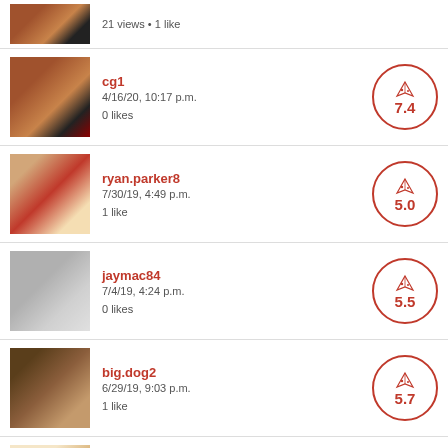21 views • 1 like
cg1
4/16/20, 10:17 p.m.
0 likes
Score: 7.4
ryan.parker8
7/30/19, 4:49 p.m.
1 like
Score: 5.0
jaymac84
7/4/19, 4:24 p.m.
0 likes
Score: 5.5
big.dog2
6/29/19, 9:03 p.m.
1 like
Score: 5.7
victor.addis